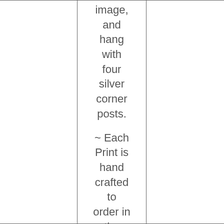image, and hang with four silver corner posts.
~ Each Print is hand crafted to order in the